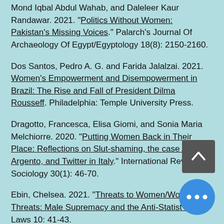Mond Iqbal Abdul Wahab, and Daleleer Kaur Randawar. 2021. "Politics Without Women: Pakistan's Missing Voices." Palarch's Journal Of Archaeology Of Egypt/Egyptology 18(8): 2150-2160.
Dos Santos, Pedro A. G. and Farida Jalalzai. 2021. Women's Empowerment and Disempowerment in Brazil: The Rise and Fall of President Dilma Rousseff. Philadelphia: Temple University Press.
Dragotto, Francesca, Elisa Giomi, and Sonia Maria Melchiorre. 2020. "Putting Women Back in Their Place: Reflections on Slut-shaming, the case Asia Argento, and Twitter in Italy." International Review of Sociology 30(1): 46-70.
Ebin, Chelsea. 2021. "Threats to Women/Women as Threats: Male Supremacy and the Anti-Statist Rig... Laws 10: 41-43.